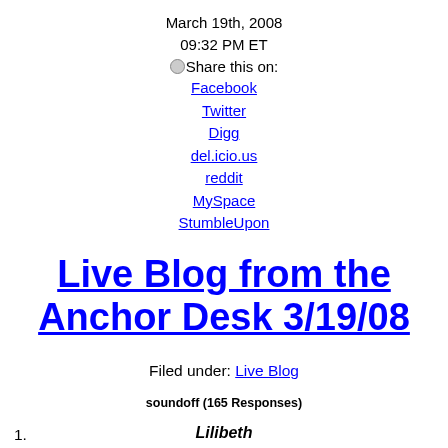March 19th, 2008
09:32 PM ET
⊗Share this on:
Facebook
Twitter
Digg
del.icio.us
reddit
MySpace
StumbleUpon
Live Blog from the Anchor Desk 3/19/08
Filed under: Live Blog
soundoff (165 Responses)
1. Lilibeth